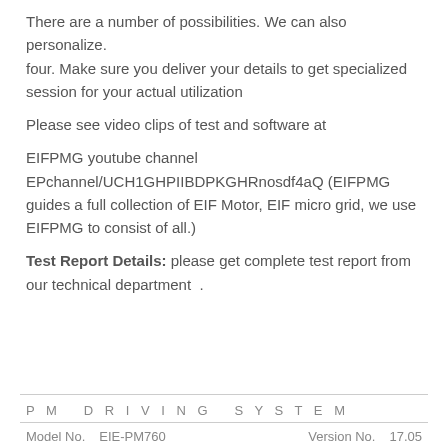There are a number of possibilities. We can also personalize.
four. Make sure you deliver your details to get specialized session for your actual utilization
Please see video clips of test and software at
EIFPMG youtube channel EPchannel/UCH1GHPIIBDPKGHRnosdf4aQ (EIFPMG guides a full collection of EIF Motor, EIF micro grid, we use EIFPMG to consist of all.)
Test Report Details: please get complete test report from our technical department .
PM DRIVING SYSTEM
Model No.    EIE-PM760    Version No.    17.05